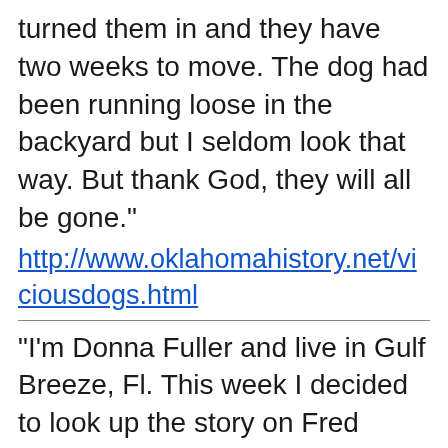turned them in and they have two weeks to move. The dog had been running loose in the backyard but I seldom look that way. But thank God, they will all be gone."
http://www.oklahomahistory.net/viciousdogs.html
"I'm Donna Fuller and live in Gulf Breeze, Fl. This week I decided to look up the story on Fred Hagler, Jr. , as he lived in our neighborhood at least a few years back in the mid-to-late 50's. I remember distinctly because I graduated from Birdville H.S. in 1957 and had moved there the summer of '55. We lived in